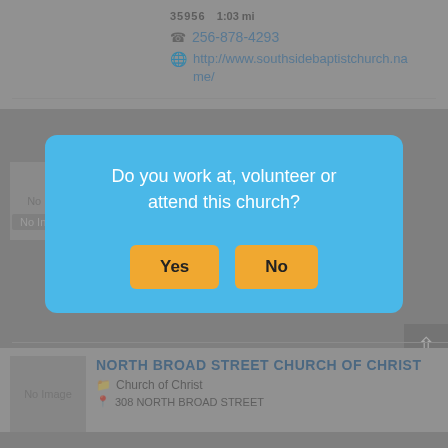256-878-4293
http://www.southsidebaptistchurch.name/
[Figure (screenshot): A modal dialog box on a church directory website. Blue modal with text: 'Do you work at, volunteer or attend this church?' and two yellow buttons labeled 'Yes' and 'No'. Background shows partially visible church listings including 'CHURCH OF CHRIST OF NORTH...' and 'NORTH BROAD STREET CHURCH OF CHRIST' with 'No Image' placeholders, a phone icon with 256-878-4293, and a website URL http://www.southsidebaptistchurch.name/]
Do you work at, volunteer or attend this church?
Yes
No
NORTH BROAD STREET CHURCH OF CHRIST
Church of Christ
308 NORTH BROAD STREET